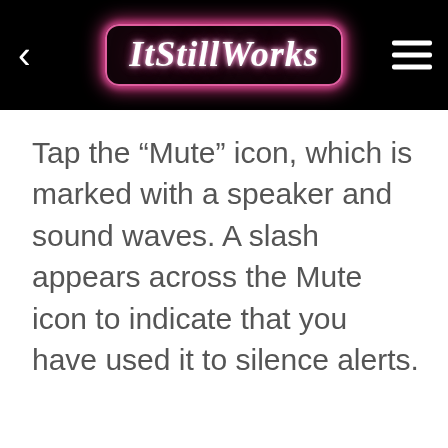ItStillWorks
Tap the “Mute” icon, which is marked with a speaker and sound waves. A slash appears across the Mute icon to indicate that you have used it to silence alerts.